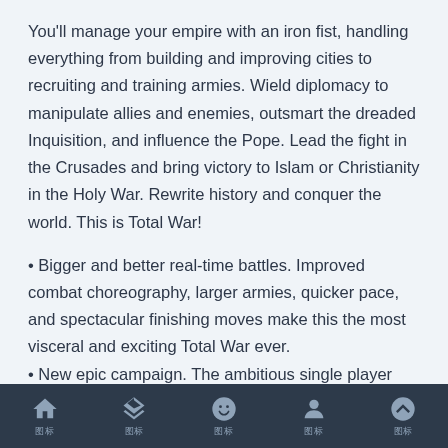You'll manage your empire with an iron fist, handling everything from building and improving cities to recruiting and training armies. Wield diplomacy to manipulate allies and enemies, outsmart the dreaded Inquisition, and influence the Pope. Lead the fight in the Crusades and bring victory to Islam or Christianity in the Holy War. Rewrite history and conquer the world. This is Total War!
• Bigger and better real-time battles. Improved combat choreography, larger armies, quicker pace, and spectacular finishing moves make this the most visceral and exciting Total War ever.
• New epic campaign. The ambitious single player campaign will span three continents and let players sail across to the Americas to confront the Aztecs on their
Home | Layers | Smiley | Person | Up